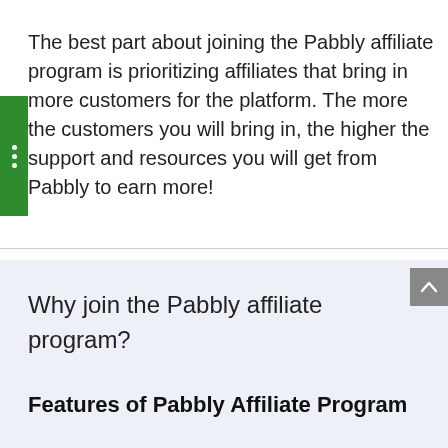The best part about joining the Pabbly affiliate program is prioritizing affiliates that bring in more customers for the platform. The more the customers you will bring in, the higher the support and resources you will get from Pabbly to earn more!
Why join the Pabbly affiliate program?
Features of Pabbly Affiliate Program